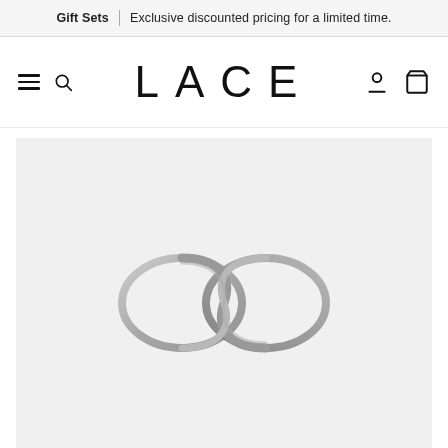Gift Sets | Exclusive discounted pricing for a limited time.
LACE
[Figure (photo): A silver twisted wire ring with an infinity/knot shape, photographed on a light gray background.]